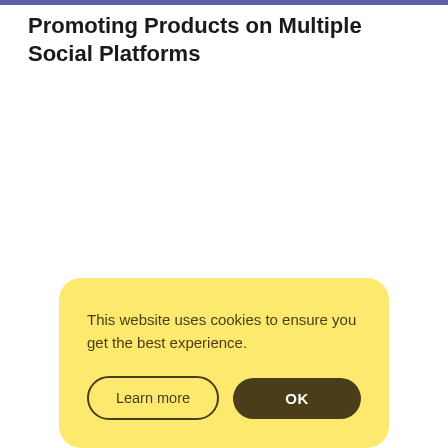Promoting Products on Multiple Social Platforms
This website uses cookies to ensure you get the best experience.